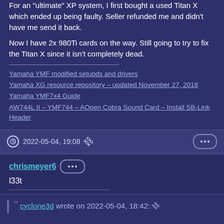For an "ultimate" XP system, I first bought a used Titan X which ended up being faulty. Seller refunded me and didn't have me send it back.
Now I have 2x 980Ti cards on the way. Still going to try to fix the Titan X since it isn't completely dead.
Yamaha YMF modified setupds and drivers
Yamaha XG resource repository – updated November 27, 2018
Yamaha YMF7x4 Guide
AW744L II – YMF744 – AOpen Cobra Sound Card – Install SB-Link Header
2022-05-04, 19:08
chrismeyer6
l33t
cyclone3d wrote on 2022-05-04, 18:42: